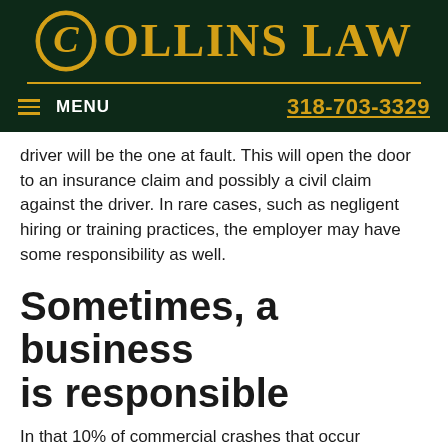[Figure (logo): Collins Law logo with circular C emblem and gold text on dark green background]
≡ MENU    318-703-3329
driver will be the one at fault. This will open the door to an insurance claim and possibly a civil claim against the driver. In rare cases, such as negligent hiring or training practices, the employer may have some responsibility as well.
Sometimes, a business is responsible
In that 10% of commercial crashes that occur because